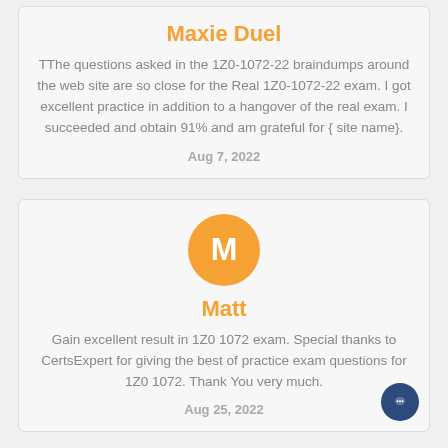Maxie Duel
TThe questions asked in the 1Z0-1072-22 braindumps around the web site are so close for the Real 1Z0-1072-22 exam. I got excellent practice in addition to a hangover of the real exam. I succeeded and obtain 91% and am grateful for { site name}.
Aug 7, 2022
[Figure (illustration): Orange circular avatar with white letter M]
Matt
Gain excellent result in 1Z0 1072 exam. Special thanks to CertsExpert for giving the best of practice exam questions for 1Z0 1072. Thank You very much.
Aug 25, 2022